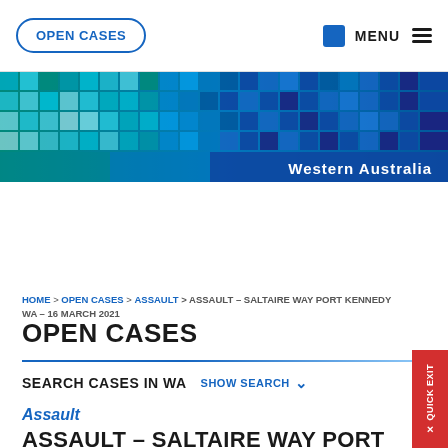OPEN CASES | MENU
[Figure (illustration): Pixel/mosaic banner with teal, cyan, and blue tiles fading to dark blue, with 'Western Australia' text on the right]
HOME > OPEN CASES > ASSAULT > ASSAULT – SALTAIRE WAY PORT KENNEDY WA – 16 MARCH 2021
OPEN CASES
SEARCH CASES IN WA   SHOW SEARCH
Assault
ASSAULT – SALTAIRE WAY PORT